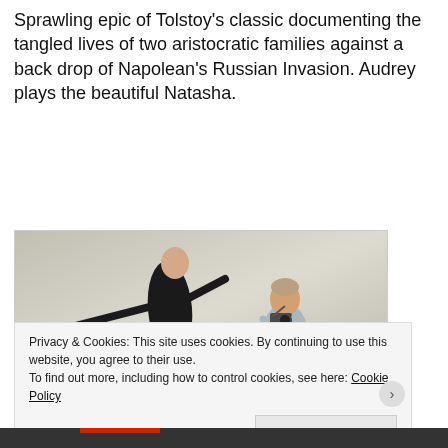Sprawling epic of Tolstoy's classic documenting the tangled lives of two aristocratic families against a back drop of Napolean's Russian Invasion. Audrey plays the beautiful Natasha.
[Figure (photo): A woman in a black outfit posing on a stool with arms outstretched, and a man seated nearby holding a camera. Light background.]
Privacy & Cookies: This site uses cookies. By continuing to use this website, you agree to their use.
To find out more, including how to control cookies, see here: Cookie Policy
Close and accept